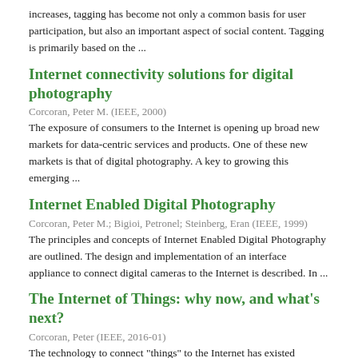increases, tagging has become not only a common basis for user participation, but also an important aspect of social content. Tagging is primarily based on the ...
Internet connectivity solutions for digital photography
Corcoran, Peter M. (IEEE, 2000)
The exposure of consumers to the Internet is opening up broad new markets for data-centric services and products. One of these new markets is that of digital photography. A key to growing this emerging ...
Internet Enabled Digital Photography
Corcoran, Peter M.; Bigioi, Petronel; Steinberg, Eran (IEEE, 1999)
The principles and concepts of Internet Enabled Digital Photography are outlined. The design and implementation of an interface appliance to connect digital cameras to the Internet is described. In ...
The Internet of Things: why now, and what's next?
Corcoran, Peter (IEEE, 2016-01)
The technology to connect "things" to the Internet has existed